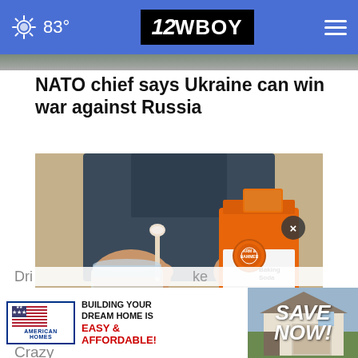83° | 12WBOY
[Figure (photo): Partially visible photo strip at top of article]
NATO chief says Ukraine can win war against Russia
[Figure (photo): Person in denim shirt holding an Arm & Hammer Baking Soda box and spooning baking soda into a glass mason jar on a table]
Dri... ke
Crazy
[Figure (infographic): Advertisement for American Homes: BUILDING YOUR DREAM HOME IS EASY & AFFORDABLE! with SAVE NOW! call to action]